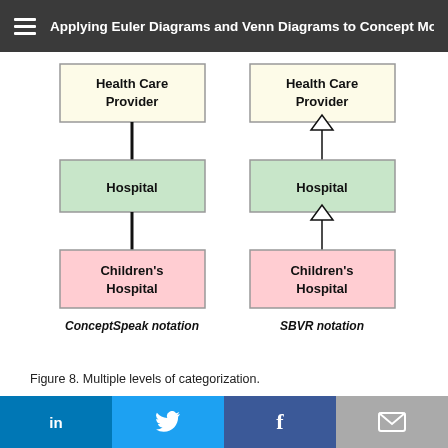Applying Euler Diagrams and Venn Diagrams to Concept Mod...
[Figure (organizational-chart): Two side-by-side concept diagrams showing multiple levels of categorization. Left diagram (ConceptSpeak notation): Health Care Provider box at top connected by plain line to Hospital box in middle, Hospital connected by plain line to Children's Hospital box at bottom. Right diagram (SBVR notation): same three boxes but connected by open-head inheritance arrows pointing upward. Labels: ConceptSpeak notation (italic bold) and SBVR notation (italic bold).]
Figure 8. Multiple levels of categorization.
in  Twitter  f  Email